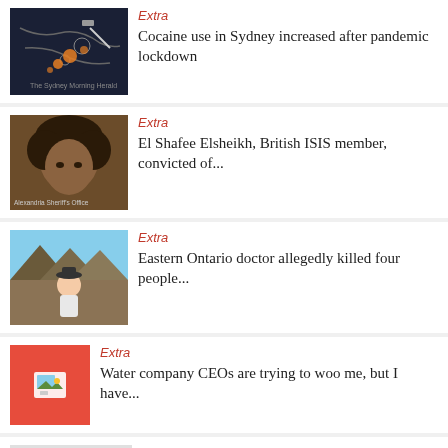Extra
Cocaine use in Sydney increased after pandemic lockdown
Extra
El Shafee Elsheikh, British ISIS member, convicted of...
Extra
Eastern Ontario doctor allegedly killed four people...
Extra
Water company CEOs are trying to woo me, but I have...
Extra
A woman drove 60 yards through the second floor of a...
[Figure (photo): Partial news thumbnail at bottom of page]